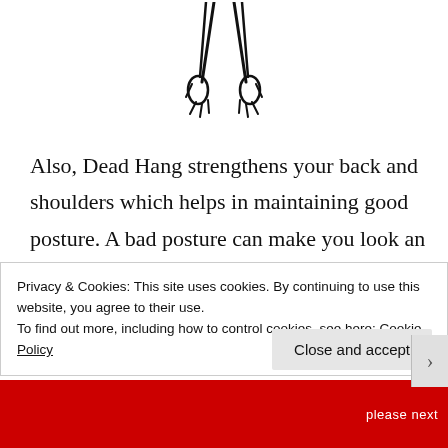[Figure (illustration): Line drawing of a person hanging by their hands (dead hang position), showing lower body and hands gripping a bar, viewed from below.]
Also, Dead Hang strengthens your back and shoulders which helps in maintaining good posture. A bad posture can make you look an inch shorter than you are. So if you are suffering from a bad posture that makes you look an inch shorter
Privacy & Cookies: This site uses cookies. By continuing to use this website, you agree to their use.
To find out more, including how to control cookies, see here: Cookie Policy
Close and accept